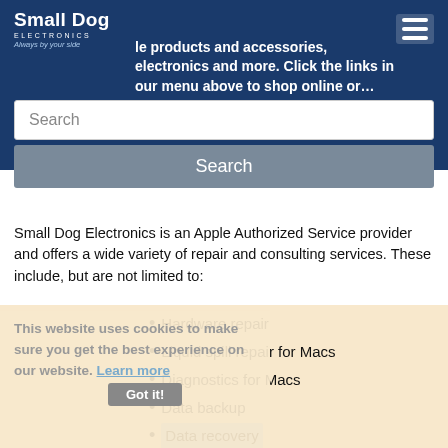Small Dog Electronics — Always by your side
Apple products and accessories, electronics and more. Click the links in our menu above to shop online or...
Search
Search
Small Dog Electronics is an Apple Authorized Service provider and offers a wide variety of repair and consulting services. These include, but are not limited to:
Hardware repair
Liquid spill repair for Macs
Diagnostics for Macs
Data backup
Data recovery
Malware / Adware / Virus Removal
Password resets
This website uses cookies to make sure you get the best experience on our website. Learn more
Got it!